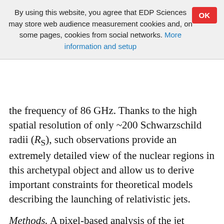By using this website, you agree that EDP Sciences may store web audience measurement cookies and, on some pages, cookies from social networks. More information and setup
the frequency of 86 GHz. Thanks to the high spatial resolution of only ~200 Schwarzschild radii (R_S), such observations provide an extremely detailed view of the nuclear regions in this archetypal object and allow us to derive important constraints for theoretical models describing the launching of relativistic jets.
Methods. A pixel-based analysis of the jet outflow, which still appears two-sided on the scales probed, was performed. By fitting Gaussian functions to the transverse intensity profiles, we could determine the jet width in the nuclear region.
Results. The base of the jets appears wide. The minimum measured transverse width of ~(227 ± 98) R_S